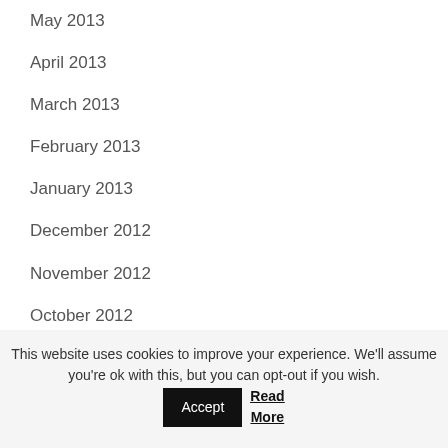May 2013
April 2013
March 2013
February 2013
January 2013
December 2012
November 2012
October 2012
September 2012
This website uses cookies to improve your experience. We'll assume you're ok with this, but you can opt-out if you wish. Accept Read More